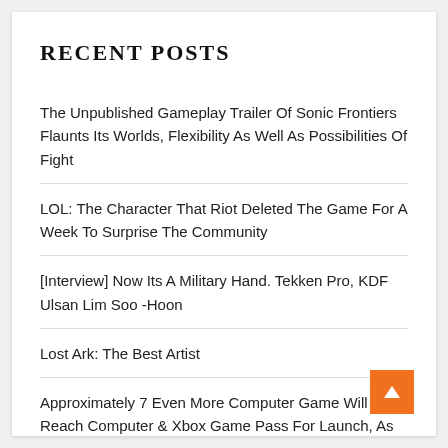RECENT POSTS
The Unpublished Gameplay Trailer Of Sonic Frontiers Flaunts Its Worlds, Flexibility As Well As Possibilities Of Fight
LOL: The Character That Riot Deleted The Game For A Week To Surprise The Community
[Interview] Now Its A Military Hand. Tekken Pro, KDF Ulsan Lim Soo -Hoon
Lost Ark: The Best Artist
Approximately 7 Even More Computer Game Will Reach Computer & Xbox Game Pass For Launch, As Well As There Are Proposals For All